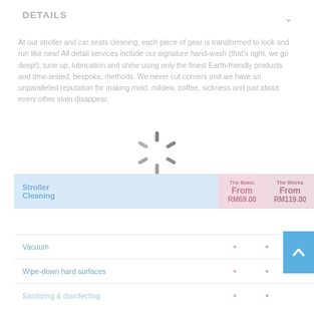DETAILS
At our stroller and car seats cleaning, each piece of gear is transformed to look and run like new! All detail services include our signature hand-wash (that's right, we go deep!), tune up, lubrication and shine using only the finest Earth-friendly products and time-tested, bespoke, methods. We never cut corners and we have an unparalleled reputation for making mold, mildew, coffee, sickness and just about every other stain disappear.
[Figure (other): Loading spinner/activity indicator centered on the page]
|  | The Basic | The Works |
| --- | --- | --- |
| Stroller Cleaning | From
RM69.00 | From
RM119.00 |
Vacuum
Wipe-down hard surfaces
Sanitizing & disinfecting